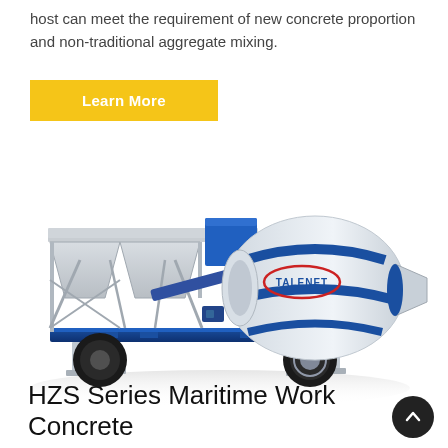host can meet the requirement of new concrete proportion and non-traditional aggregate mixing.
[Figure (illustration): Learn More button — yellow rectangular button with white bold text]
[Figure (photo): Photograph of a TALENET-branded mobile concrete batching plant / mixer unit on a wheeled blue frame with grey aggregate hoppers and a large rotating drum mixer.]
HZS Series Maritime Work Concrete